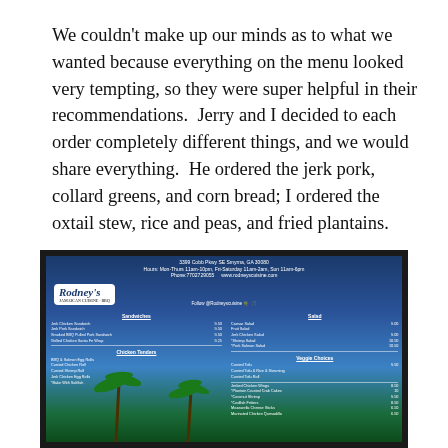We couldn't make up our minds as to what we wanted because everything on the menu looked very tempting, so they were super helpful in their recommendations.  Jerry and I decided to each order completely different things, and we would share everything.  He ordered the jerk pork, collard greens, and corn bread; I ordered the oxtail stew, rice and peas, and fried plantains.
[Figure (photo): Photo of Rodney's restaurant menu board with a Caribbean tropical theme, showing a blue background with palm trees. Menu lists appetizers, sandwiches, salads, and veggie dishes with prices.]